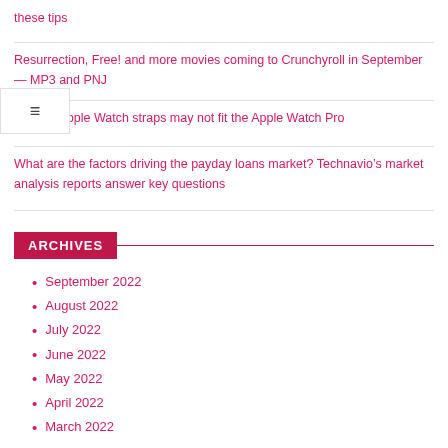these tips
Resurrection, Free! and more movies coming to Crunchyroll in September — MP3 and PNJ
Current Apple Watch straps may not fit the Apple Watch Pro
What are the factors driving the payday loans market? Technavio's market analysis reports answer key questions
ARCHIVES
September 2022
August 2022
July 2022
June 2022
May 2022
April 2022
March 2022